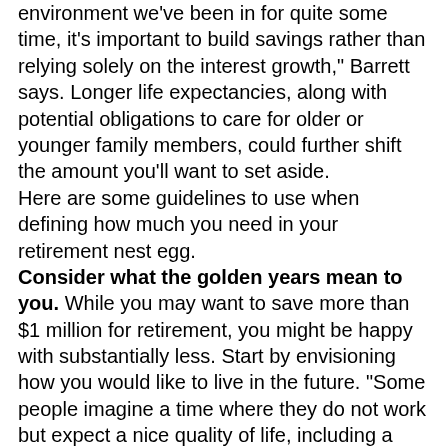environment we've been in for quite some time, it's important to build savings rather than relying solely on the interest growth," Barrett says. Longer life expectancies, along with potential obligations to care for older or younger family members, could further shift the amount you'll want to set aside. Here are some guidelines to use when defining how much you need in your retirement nest egg. Consider what the golden years mean to you. While you may want to save more than $1 million for retirement, you might be happy with substantially less. Start by envisioning how you would like to live in the future. "Some people imagine a time where they do not work but expect a nice quality of life, including a